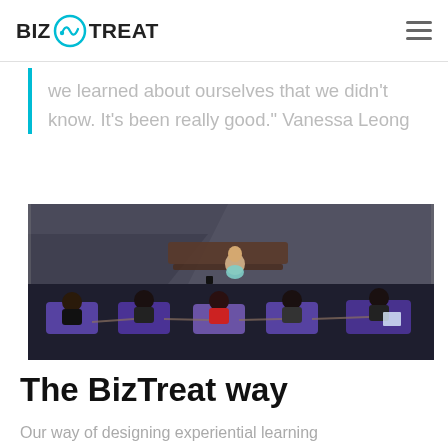BizTreat
we learned about ourselves that we didn't know. It's been really good." Vanessa Leong
[Figure (photo): Group of children sitting on yoga mats in a circle outdoors on a tiled floor, with an adult instructor sitting cross-legged in front of them near a wooden bench. The setting appears to be an outdoor pavilion or terrace.]
The BizTreat way
Our way of designing experiential learning